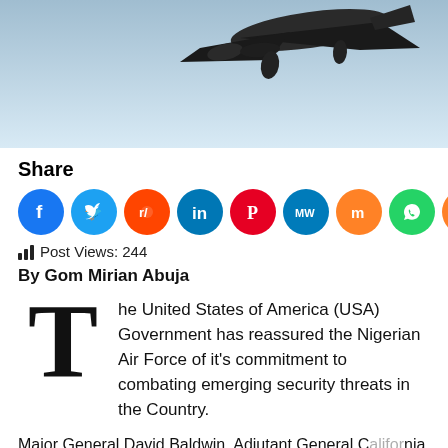[Figure (photo): Aircraft silhouette flying against a light blue sky, viewed from below.]
Share
[Figure (infographic): Row of social media sharing icons: Facebook, Twitter, Reddit, LinkedIn, Pinterest, MeWe, Mix, WhatsApp, Share.]
Post Views: 244
By Gom Mirian Abuja
The United States of America (USA) Government has reassured the Nigerian Air Force of it's commitment to combating emerging security threats in the Country.
Major General David Baldwin, Adjutant General California national guard said this, while on a courtesy visit to the Chief of the Air Staff (CAS), Air Marshal Sadique Abubakar, at NAF Headquarters, Abuja.